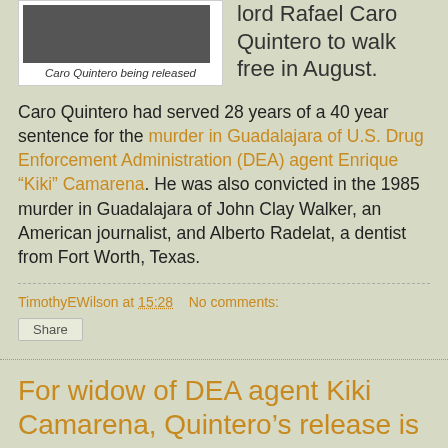[Figure (photo): Group photo of people, Caro Quintero being released]
Caro Quintero being released
lord Rafael Caro Quintero to walk free in August.
Caro Quintero had served 28 years of a 40 year sentence for the murder in Guadalajara of U.S. Drug Enforcement Administration (DEA) agent Enrique “Kiki” Camarena. He was also convicted in the 1985 murder in Guadalajara of John Clay Walker, an American journalist, and Alberto Radelat, a dentist from Fort Worth, Texas.
TimothyEWilson at 15:28   No comments:
Share
For widow of DEA agent Kiki Camarena, Quintero’s release is a bitter pill to swallow